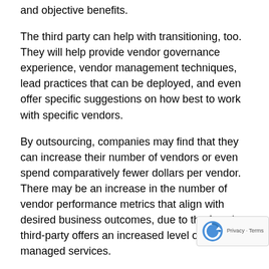and objective benefits.
The third party can help with transitioning, too. They will help provide vendor governance experience, vendor management techniques, lead practices that can be deployed, and even offer specific suggestions on how best to work with specific vendors.
By outsourcing, companies may find that they can increase their number of vendors or even spend comparatively fewer dollars per vendor. There may be an increase in the number of vendor performance metrics that align with desired business outcomes, due to the fact the third-party offers an increased level of managed services.
Often businesses see increased stakeholder satisfaction, which is often good for the bottom line.